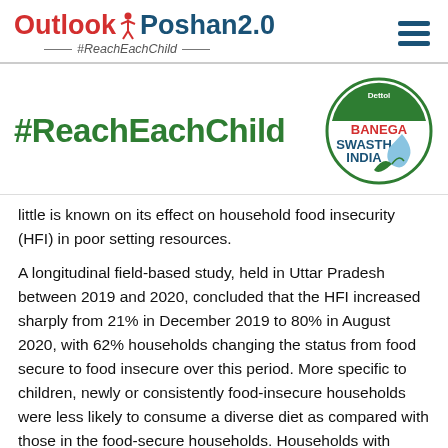Outlook Poshan 2.0 #ReachEachChild
[Figure (logo): Outlook Poshan 2.0 logo with #ReachEachChild tagline]
[Figure (logo): Dettol Banega Swasth India circular logo with water drop]
#ReachEachChild
little is known on its effect on household food insecurity (HFI) in poor setting resources.
A longitudinal field-based study, held in Uttar Pradesh between 2019 and 2020, concluded that the HFI increased sharply from 21% in December 2019 to 80% in August 2020, with 62% households changing the status from food secure to food insecure over this period. More specific to children, newly or consistently food-insecure households were less likely to consume a diverse diet as compared with those in the food-secure households. Households with consistent